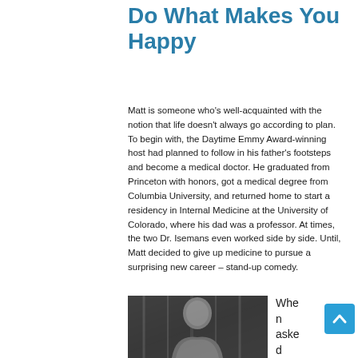Do What Makes You Happy
Matt is someone who's well-acquainted with the notion that life doesn't always go according to plan. To begin with, the Daytime Emmy Award-winning host had planned to follow in his father's footsteps and become a medical doctor. He graduated from Princeton with honors, got a medical degree from Columbia University, and returned home to start a residency in Internal Medicine at the University of Colorado, where his dad was a professor. At times, the two Dr. Isemans even worked side by side. Until, Matt decided to give up medicine to pursue a surprising new career – stand-up comedy.
[Figure (photo): Black and white photo of a man (Matt Iseman) against a dark background]
When asked